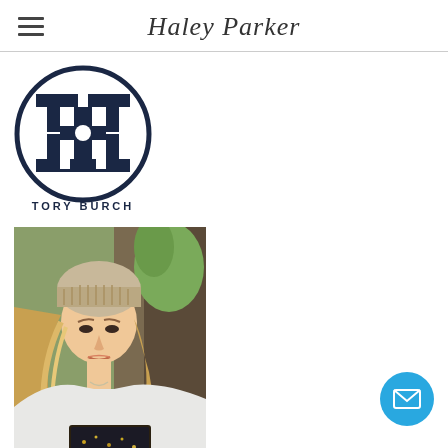Haley Parker
[Figure (logo): Tory Burch circular logo with double-T monogram in navy blue, with 'TORY BURCH' text below]
[Figure (photo): Young blonde woman wearing a knit beige beanie hat and white graphic sweatshirt, outdoor background with greenery]